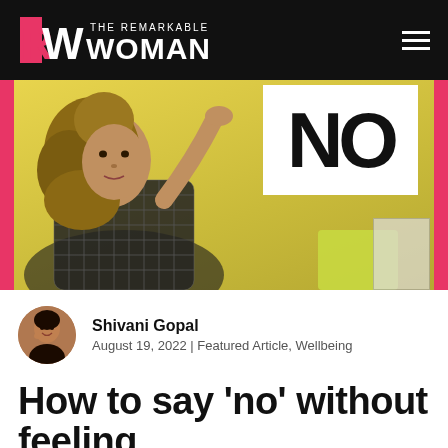THE REMARKABLE WOMAN
[Figure (photo): Woman with curly blonde hair lying down holding a white sign with 'NO' written on it in black, against a yellow background with pink side bars]
Shivani Gopal
August 19, 2022 | Featured Article, Wellbeing
How to say 'no' without feeling